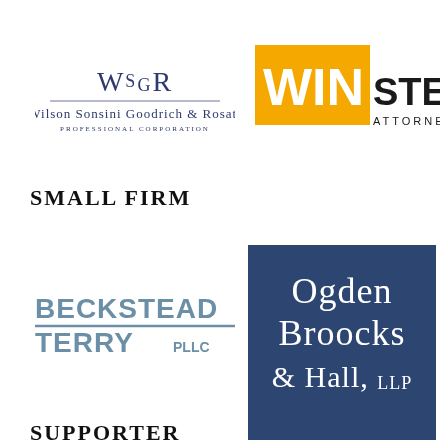[Figure (logo): Wilson Sonsini Goodrich & Rosati Professional Corporation logo with stylized W S G R monogram]
[Figure (logo): Winstead Attorneys logo with gold/yellow square and bold text]
SMALL FIRM
[Figure (logo): Beckstead Terry PLLC logo in steel blue with underline]
[Figure (logo): Ogden Broocks & Hall, LLP logo white serif text on dark navy blue square background]
SUPPORTER